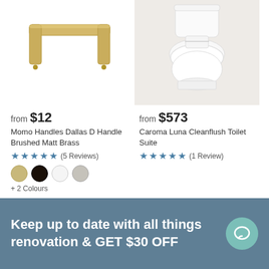[Figure (photo): Gold/brass cabinet D-handle on white background]
[Figure (photo): White Caroma Luna Cleanflush toilet suite on light grey/white background]
from $12
Momo Handles Dallas D Handle Brushed Matt Brass
★★★★★ (5 Reviews)
+ 2 Colours
from $573
Caroma Luna Cleanflush Toilet Suite
★★★★★ (1 Review)
Keep up to date with all things renovation & GET $30 OFF